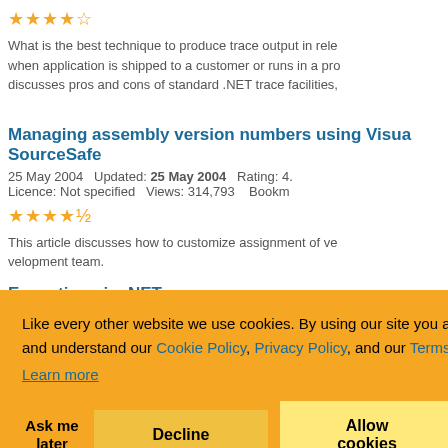[Figure (other): Star rating: 4 out of 5 stars (orange)]
What is the best technique to produce trace output in rele when application is shipped to a customer or runs in a pro discusses pros and cons of standard .NET trace facilities,
Managing assembly version numbers using Visua SourceSafe
25 May 2004   Updated: 25 May 2004   Rating: 4. Licence: Not specified   Views: 314,793   Bookm
[Figure (other): Star rating: approximately 4.5 out of 5 stars (orange)]
This article discusses how to customize assignment of ve velopment team.
Exceptions in .NET
2005   Rating: 4.45/ 565   Bookmarked:
ormance costs when thr
ct 2008   Rating: 4.9 03   Bookmarked: 5
[Figure (other): Star rating: 5 out of 5 stars (orange)]
Like every other website we use cookies. By using our site you acknowledge that you have read and understand our Cookie Policy, Privacy Policy, and our Terms of Service. Learn more
Ask me later   Decline   Allow cookies